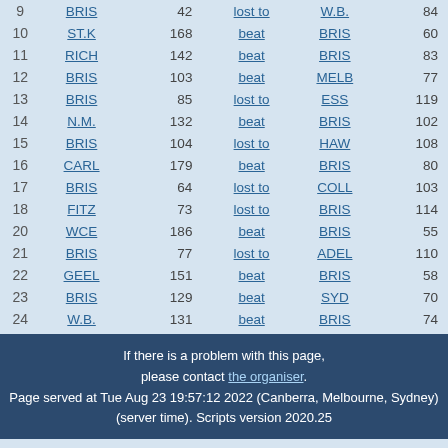| Round | Team1 | Score1 | Result | Team2 | Score2 |
| --- | --- | --- | --- | --- | --- |
| 9 | BRIS | 42 | lost to | W.B. | 84 |
| 10 | ST.K | 168 | beat | BRIS | 60 |
| 11 | RICH | 142 | beat | BRIS | 83 |
| 12 | BRIS | 103 | beat | MELB | 77 |
| 13 | BRIS | 85 | lost to | ESS | 119 |
| 14 | N.M. | 132 | beat | BRIS | 102 |
| 15 | BRIS | 104 | lost to | HAW | 108 |
| 16 | CARL | 179 | beat | BRIS | 80 |
| 17 | BRIS | 64 | lost to | COLL | 103 |
| 18 | FITZ | 73 | lost to | BRIS | 114 |
| 20 | WCE | 186 | beat | BRIS | 55 |
| 21 | BRIS | 77 | lost to | ADEL | 110 |
| 22 | GEEL | 151 | beat | BRIS | 58 |
| 23 | BRIS | 129 | beat | SYD | 70 |
| 24 | W.B. | 131 | beat | BRIS | 74 |
If there is a problem with this page, please contact the organiser. Page served at Tue Aug 23 19:57:12 2022 (Canberra, Melbourne, Sydney) (server time). Scripts version 2020.25